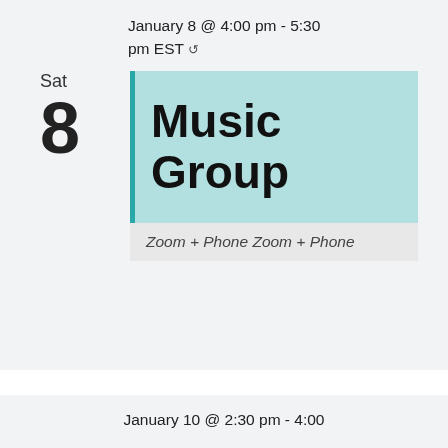January 8 @ 4:00 pm - 5:30 pm EST ↺
Sat
8
Music Group
Zoom + Phone Zoom + Phone
January 10 @ 2:30 pm - 4:00